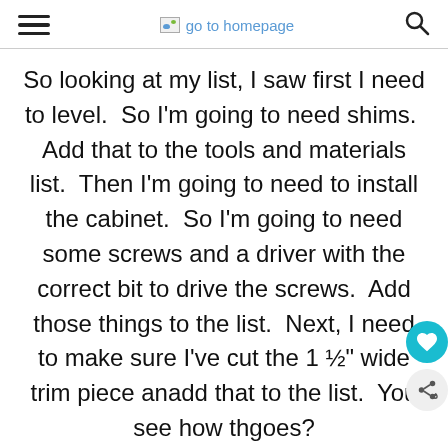go to homepage
So looking at my list, I saw first I need to level.  So I'm going to need shims.  Add that to the tools and materials list.  Then I'm going to need to install the cabinet.  So I'm going to need some screws and a driver with the correct bit to drive the screws.  Add those things to the list.  Next, I need to make sure I've cut the 1 ½" wide trim piece and add that to the list.  You see how this goes?